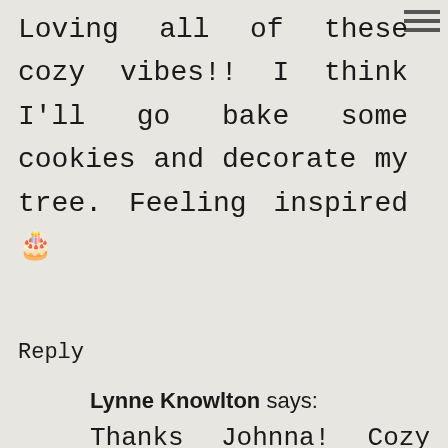Loving all of these cozy vibes!! I think I'll go bake some cookies and decorate my tree. Feeling inspired 🎄
Reply
Lynne Knowlton says:
Thanks Johnna! Cozy vibes are d'best, aren't they?! Woot. And did you mention cookies? We are